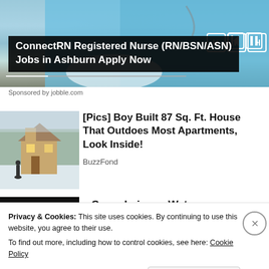[Figure (screenshot): Video player showing a nurse in blue scrubs with a stethoscope. Video controls (previous, pause, next) visible at top right. A progress bar near bottom.]
ConnectRN Registered Nurse (RN/BSN/ASN) Jobs in Ashburn Apply Now
Sponsored by jobble.com
[Figure (photo): Small wooden house covered in snow, with a person standing outside, warm light inside through a small window.]
[Pics] Boy Built 87 Sq. Ft. House That Outdoes Most Apartments, Look Inside!
BuzzFond
[Figure (photo): Dark/black image, partial view of article thumbnail for Camp Lejeune Water article.]
Camp Lejeune Water
Privacy & Cookies: This site uses cookies. By continuing to use this website, you agree to their use.
To find out more, including how to control cookies, see here: Cookie Policy
Close and accept